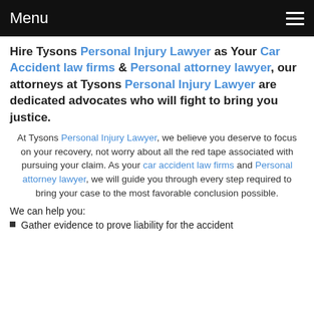Menu
Hire Tysons Personal Injury Lawyer as Your Car Accident law firms & Personal attorney lawyer, our attorneys at Tysons Personal Injury Lawyer are dedicated advocates who will fight to bring you justice.
At Tysons Personal Injury Lawyer, we believe you deserve to focus on your recovery, not worry about all the red tape associated with pursuing your claim. As your car accident law firms and Personal attorney lawyer, we will guide you through every step required to bring your case to the most favorable conclusion possible.
We can help you:
Gather evidence to prove liability for the accident